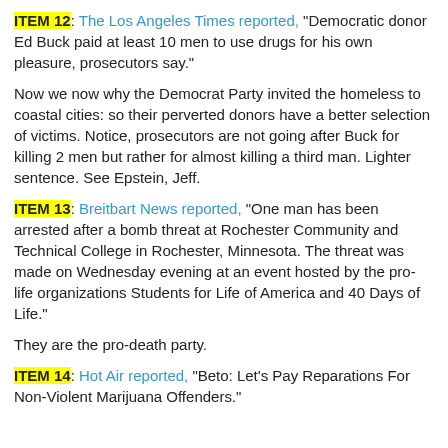ITEM 12: The Los Angeles Times reported, "Democratic donor Ed Buck paid at least 10 men to use drugs for his own pleasure, prosecutors say."
Now we now why the Democrat Party invited the homeless to coastal cities: so their perverted donors have a better selection of victims. Notice, prosecutors are not going after Buck for killing 2 men but rather for almost killing a third man. Lighter sentence. See Epstein, Jeff.
ITEM 13: Breitbart News reported, "One man has been arrested after a bomb threat at Rochester Community and Technical College in Rochester, Minnesota. The threat was made on Wednesday evening at an event hosted by the pro-life organizations Students for Life of America and 40 Days of Life."
They are the pro-death party.
ITEM 14: Hot Air reported, "Beto: Let's Pay Reparations For Non-Violent Marijuana Offenders."